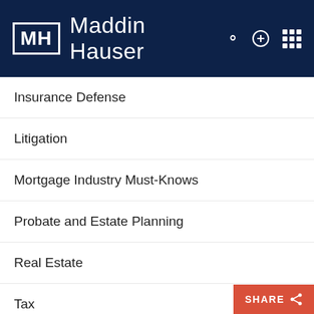MH Maddin Hauser
Insurance Defense
Litigation
Mortgage Industry Must-Knows
Probate and Estate Planning
Real Estate
Tax
Venture Capital, Private Equity and Angel Inv…